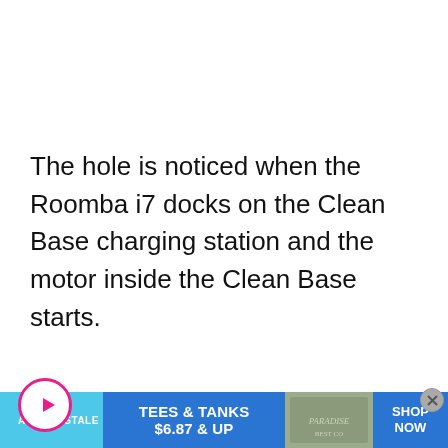The hole is noticed when the Roomba i7 docks on the Clean Base charging station and the motor inside the Clean Base starts.
Readers who read this also read:
[Figure (other): Advertisement banner for Aeropostale: TEES & TANKS $6.87 & UP SHOP NOW, with a background image of clothing/fabric]